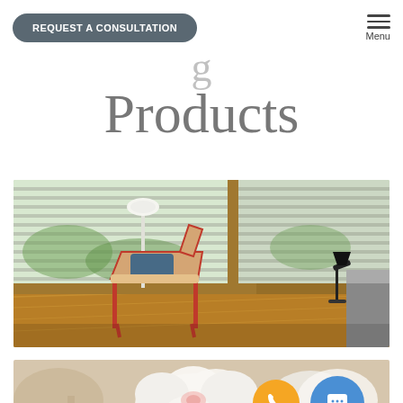REQUEST A CONSULTATION | Menu
Products
[Figure (photo): Interior room with horizontal slatted blinds on large corner windows, red-frame lounge chair with blue pillow, floor lamp, hardwood flooring, and a dark desk lamp in background]
[Figure (photo): Close-up of white peony flowers with soft blurred background, phone and chat floating action buttons visible]